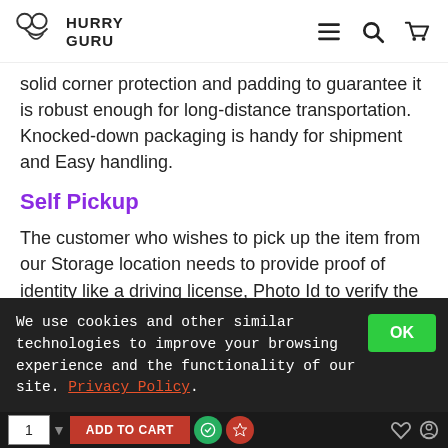HURRY GURU
solid corner protection and padding to guarantee it is robust enough for long-distance transportation. Knocked-down packaging is handy for shipment and Easy handling.
Self Pickup
The customer who wishes to pick up the item from our Storage location needs to provide proof of identity like a driving license, Photo Id to verify the identity and also provide details of the credit card to verify against
We use cookies and other similar technologies to improve your browsing experience and the functionality of our site. Privacy Policy.